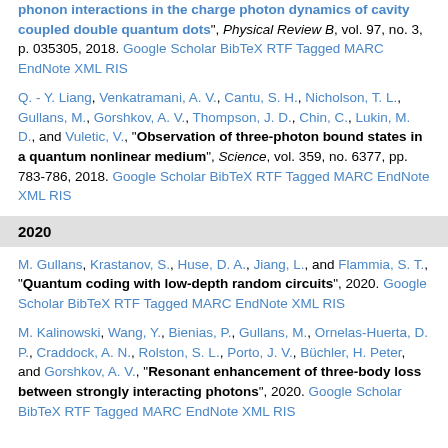phonon interactions in the charge photon dynamics of cavity coupled double quantum dots", Physical Review B, vol. 97, no. 3, p. 035305, 2018. Google Scholar BibTeX RTF Tagged MARC EndNote XML RIS
Q. - Y. Liang, Venkatramani, A. V., Cantu, S. H., Nicholson, T. L., Gullans, M., Gorshkov, A. V., Thompson, J. D., Chin, C., Lukin, M. D., and Vuletic, V., "Observation of three-photon bound states in a quantum nonlinear medium", Science, vol. 359, no. 6377, pp. 783-786, 2018. Google Scholar BibTeX RTF Tagged MARC EndNote XML RIS
2020
M. Gullans, Krastanov, S., Huse, D. A., Jiang, L., and Flammia, S. T., "Quantum coding with low-depth random circuits", 2020. Google Scholar BibTeX RTF Tagged MARC EndNote XML RIS
M. Kalinowski, Wang, Y., Bienias, P., Gullans, M., Ornelas-Huerta, D. P., Craddock, A. N., Rolston, S. L., Porto, J. V., Büchler, H. Peter, and Gorshkov, A. V., "Resonant enhancement of three-body loss between strongly interacting photons", 2020. Google Scholar BibTeX RTF Tagged MARC EndNote XML RIS